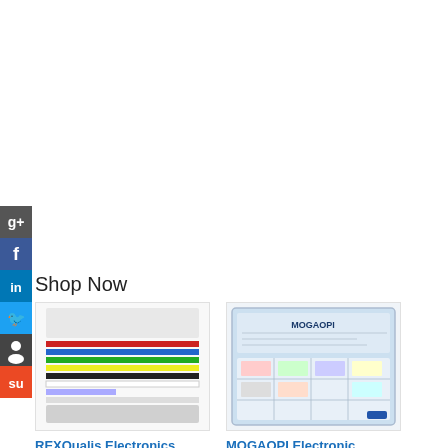[Figure (infographic): Social media sharing icons bar on left side: Google+, Facebook, LinkedIn, Twitter, GitHub/person icon, StumbleUpon]
Shop Now
[Figure (photo): REXQualis Electronics Component Fun Kit product image showing breadboard, resistors, LEDs, wires, and other components]
REXQualis Electronics Component Fun Kit ...
[Figure (photo): MOGAOPI Electronic Component Kit in a clear plastic organizer case with various electronic components]
MOGAOPI Electronic Component Kit & Tota...